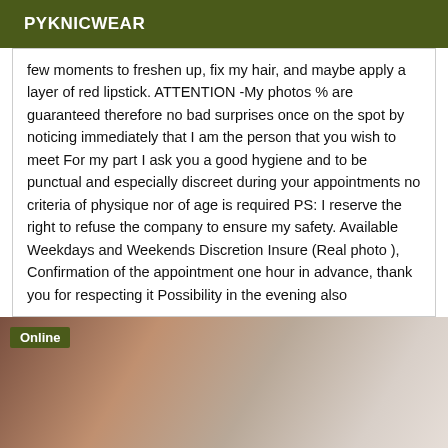PYKNICWEAR
few moments to freshen up, fix my hair, and maybe apply a layer of red lipstick. ATTENTION -My photos % are guaranteed therefore no bad surprises once on the spot by noticing immediately that I am the person that you wish to meet For my part I ask you a good hygiene and to be punctual and especially discreet during your appointments no criteria of physique nor of age is required PS: I reserve the right to refuse the company to ensure my safety. Available Weekdays and Weekends Discretion Insure (Real photo ), Confirmation of the appointment one hour in advance, thank you for respecting it Possibility in the evening also
[Figure (photo): Close-up photo of skin, showing warm brown tones on the left fading to lighter beige/cream tones on the right, with an 'Online' badge in the upper left corner.]